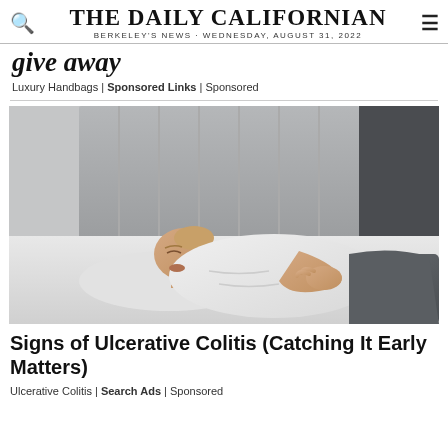THE DAILY CALIFORNIAN
BERKELEY'S NEWS · WEDNESDAY, AUGUST 31, 2022
give away
Luxury Handbags | Sponsored Links | Sponsored
[Figure (photo): A man lying on a bed in a white t-shirt, holding his stomach, appearing to be in discomfort. He is resting against a padded grey headboard.]
Signs of Ulcerative Colitis (Catching It Early Matters)
Ulcerative Colitis | Search Ads | Sponsored